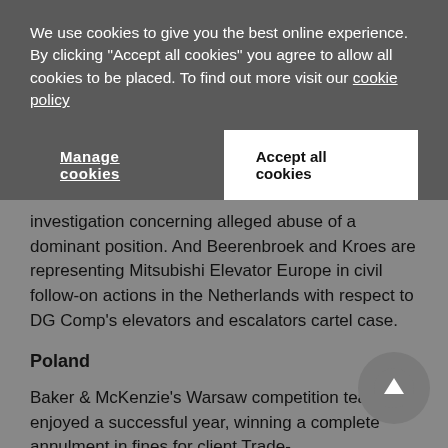We use cookies to give you the best online experience. By clicking "Accept all cookies" you agree to allow all cookies to be placed. To find out more visit our cookie policy
Manage cookies | Accept all cookies
investigation concerning alleged abuse of a dominant position. And Beerenbroek and Kroes are representing Mitsubishi Elevator Europe in civil follow-on actions in the Netherlands with respect to DG Comp's elevators and escalators cartel case.
Poland
Baker & McKenzie's Warsaw competition team has enjoyed a successful year, winning a complete annulment in fines for client Trade-